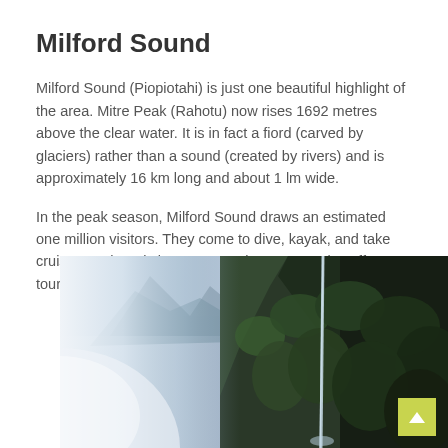Milford Sound
Milford Sound (Piopiotahi) is just one beautiful highlight of the area. Mitre Peak (Rahotu) now rises 1692 metres above the clear water. It is in fact a fiord (carved by glaciers) rather than a sound (created by rivers) and is approximately 16 km long and about 1 lm wide.
In the peak season, Milford Sound draws an estimated one million visitors. They come to dive, kayak, and take cruises on the pristine water. Various companies offer tours for all these activities.
[Figure (photo): Photograph of Milford Sound showing a tall waterfall cascading down steep, dark, vegetation-covered rocky cliffs. The left side has a bright whitish-blue misty sky and mountain peaks, while the right side shows dense dark green forest on the cliff face. Water falls in a long thin stream down the rock face.]